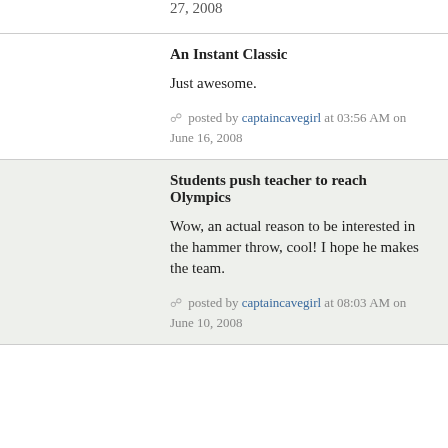27, 2008
An Instant Classic
Just awesome.
posted by captaincavegirl at 03:56 AM on June 16, 2008
Students push teacher to reach Olympics
Wow, an actual reason to be interested in the hammer throw, cool! I hope he makes the team.
posted by captaincavegirl at 08:03 AM on June 10, 2008